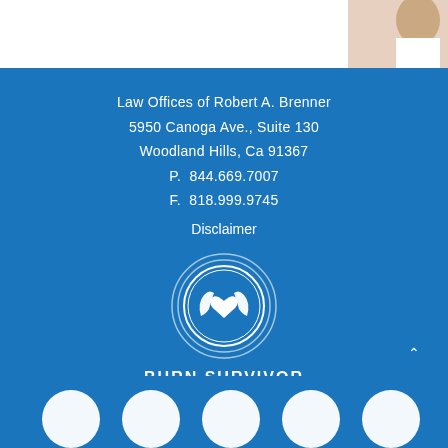[Figure (photo): Partial photo of a person in white clothing, visible at top right corner]
Law Offices of Robert A. Brenner
5950 Canoga Ave., Suite 130
Woodland Hills, Ca 91367
P. 844.669.7007
F. 818.999.9745
Disclaimer
[Figure (logo): Burn Survivor Resource Community logo: circular emblem with hands holding a heart, white on blue background, with text BURN SURVIVOR RESOURCE COMMUNITY]
[Figure (photo): Row of five circular avatar photos partially visible at the bottom of the page]